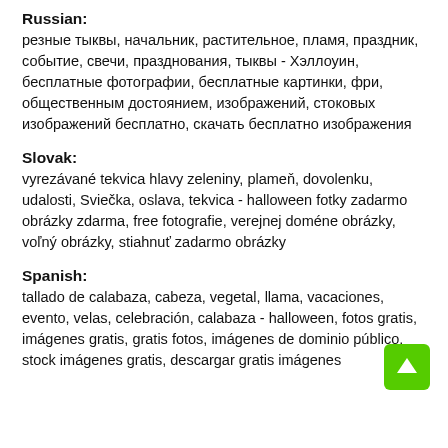Russian:
резные тыквы, начальник, растительное, пламя, праздник, событие, свечи, празднования, тыквы - Хэллоуин, бесплатные фотографии, бесплатные картинки, фри, общественным достоянием, изображений, стоковых изображений бесплатно, скачать бесплатно изображения
Slovak:
vyrezávané tekvica hlavy zeleniny, plameň, dovolenku, udalosti, Sviečka, oslava, tekvica - halloween fotky zadarmo obrázky zdarma, free fotografie, verejnej doméne obrázky, voľný obrázky, stiahnuť zadarmo obrázky
Spanish:
tallado de calabaza, cabeza, vegetal, llama, vacaciones, evento, velas, celebración, calabaza - halloween, fotos gratis, imágenes gratis, gratis fotos, imágenes de dominio público, stock imágenes gratis, descargar gratis imágenes